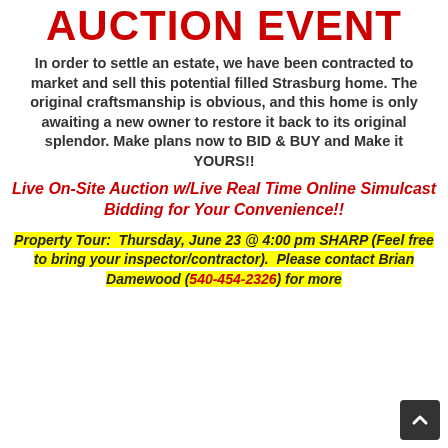AUCTION EVENT
In order to settle an estate, we have been contracted to market and sell this potential filled Strasburg home.  The original craftsmanship is obvious, and this home is only awaiting a new owner to restore it back to its original splendor.  Make plans now to BID & BUY and Make it YOURS!!
Live On-Site Auction w/Live Real Time Online Simulcast Bidding for Your Convenience!!
Property Tour:  Thursday, June 23 @ 4:00 pm SHARP (Feel free to bring your inspector/contractor).  Please contact Brian Damewood (540-454-2326) for more